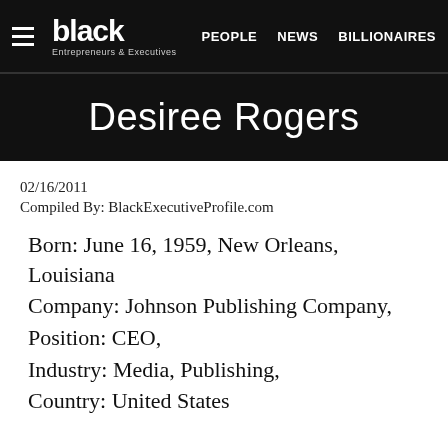black Entrepreneurs & Executives | PEOPLE  NEWS  BILLIONAIRES
Desiree Rogers
02/16/2011
Compiled By: BlackExecutiveProfile.com
Born: June 16, 1959, New Orleans, Louisiana
Company: Johnson Publishing Company,
Position: CEO,
Industry: Media, Publishing,
Country: United States